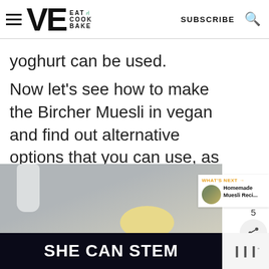VE Eat Cook Bake — SUBSCRIBE
yoghurt can be used.
Now let's see how to make the Bircher Muesli in vegan and find out alternative options that you can use, as well as tips and tricks
[Figure (photo): Photo of a bottle and bowl with muesli ingredients on a grey surface]
WHAT'S NEXT → Homemade Muesli Reci...
[Figure (advertisement): Dark banner ad reading SHE CAN STEM with a small logo to the right]